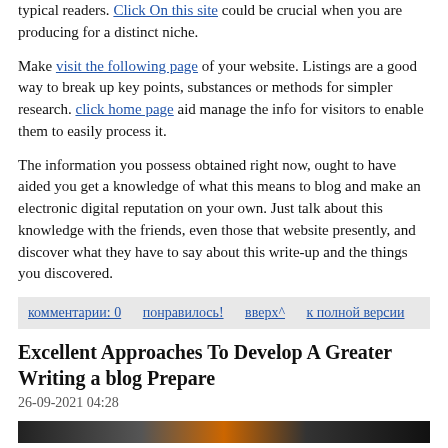typical readers. Click On this site could be crucial when you are producing for a distinct niche.
Make visit the following page of your website. Listings are a good way to break up key points, substances or methods for simpler research. click home page aid manage the info for visitors to enable them to easily process it.
The information you possess obtained right now, ought to have aided you get a knowledge of what this means to blog and make an electronic digital reputation on your own. Just talk about this knowledge with the friends, even those that website presently, and discover what they have to say about this write-up and the things you discovered.
комментарии: 0    понравилось!    вверх^    к полной версии
Excellent Approaches To Develop A Greater Writing a blog Prepare
26-09-2021 04:28